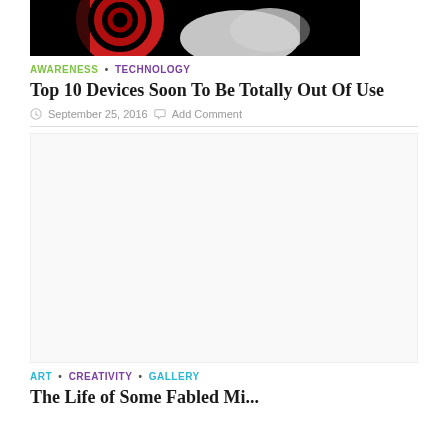[Figure (photo): Cropped photo showing a red spiral/disk object on a dark background with a white cloud-like shape]
AWARENESS • TECHNOLOGY
Top 10 Devices Soon To Be Totally Out Of Use
September 25, 2016  Add Comment
[Figure (other): Advertisement placeholder area (blank)]
ART • CREATIVITY • GALLERY
The Life of Some Fabled Mi...